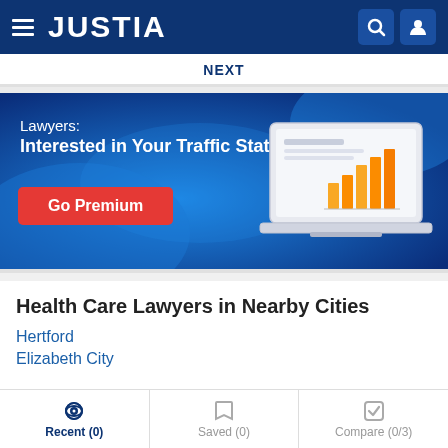JUSTIA
NEXT
[Figure (infographic): Justia promotional banner: Lawyers: Interested in Your Traffic Stats? Go Premium button with laptop showing bar chart graphic]
Health Care Lawyers in Nearby Cities
Hertford
Elizabeth City
Recent (0)  Saved (0)  Compare (0/3)